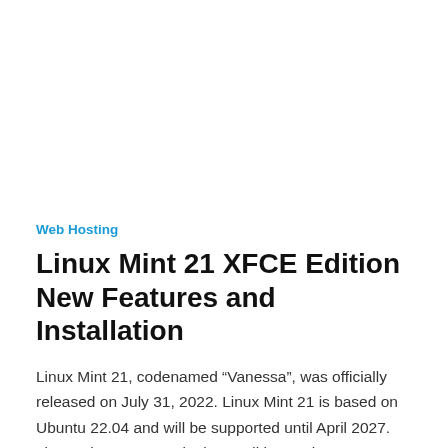Web Hosting
Linux Mint 21 XFCE Edition New Features and Installation
Linux Mint 21, codenamed “Vanessa”, was officially released on July 31, 2022. Linux Mint 21 is based on Ubuntu 22.04 and will be supported until April 2027. Linux Mint 21 comes in three editions: Cinnamon, …
By Contributor on August 12, 2022